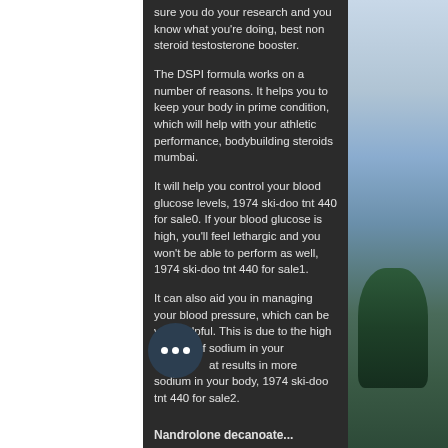sure you do your research and you know what you're doing, best non steroid testosterone booster.
The DSPI formula works on a number of reasons. It helps you to keep your body in prime condition, which will help with your athletic performance, bodybuilding steroids mumbai.
It will help you control your blood glucose levels, 1974 ski-doo tnt 440 for sale0. If your blood glucose is high, you'll feel lethargic and you won't be able to perform as well, 1974 ski-doo tnt 440 for sale1.
It can also aid you in managing your blood pressure, which can be very helpful. This is due to the high number of sodium in your body, at results in more sodium in your body, 1974 ski-doo tnt 440 for sale2.
[Figure (photo): Outdoor landscape photo showing misty mountains and tropical trees on the right side of the page]
Nandrolone decanoate...